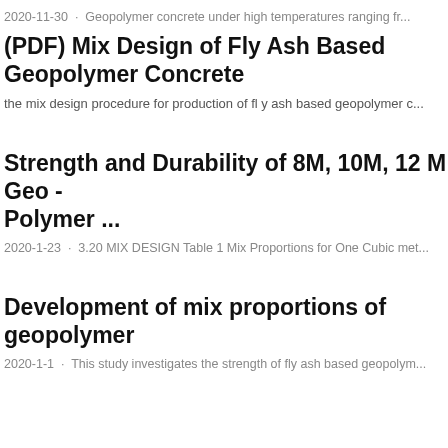2020-11-30 · Geopolymer concrete under high temperatures ranging fr...
(PDF) Mix Design of Fly Ash Based Geopolymer Concrete
the mix design procedure for production of fly ash based geopolymer c...
Strength and Durability of 8M, 10M, 12 M Geo - Polymer ...
2020-1-23 · 3.20 MIX DESIGN Table 1 Mix Proportions for One Cubic met...
Development of mix proportions of geopolymer
2020-1-1 · This study investigates the strength of fly ash based geopolym...